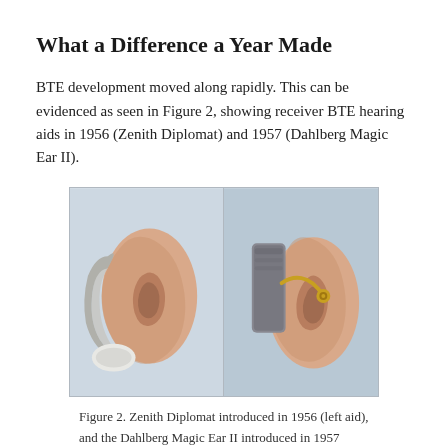What a Difference a Year Made
BTE development moved along rapidly. This can be evidenced as seen in Figure 2, showing receiver BTE hearing aids in 1956 (Zenith Diplomat) and 1957 (Dahlberg Magic Ear II).
[Figure (photo): Two photographs side by side showing BTE (behind-the-ear) hearing aids worn on a model ear. Left image shows the 1956 Zenith Diplomat hearing aid (silver/metallic, wrapping around the ear). Right image shows the 1957 Dahlberg Magic Ear II hearing aid (grey rectangular device behind ear with gold connector).]
Figure 2. Zenith Diplomat introduced in 1956 (left aid), and the Dahlberg Magic Ear II introduced in 1957 (right aid). The